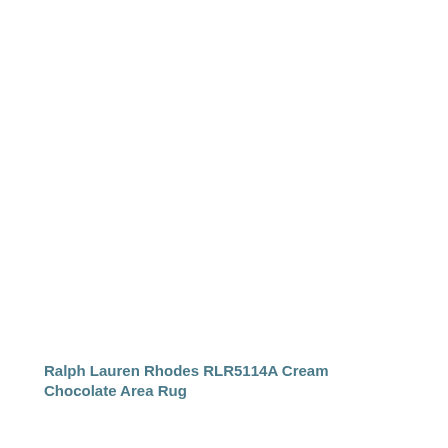Ralph Lauren Rhodes RLR5114A Cream Chocolate Area Rug